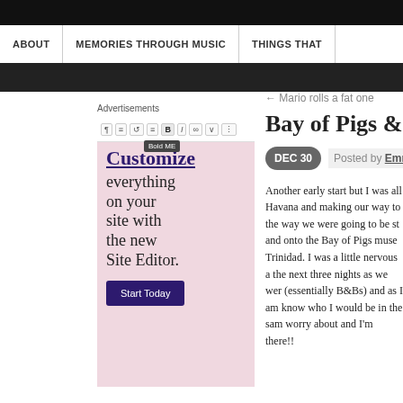ABOUT | MEMORIES THROUGH MUSIC | THINGS THAT
[Figure (screenshot): WordPress Site Editor advertisement with 'Customize everything on your site with the new Site Editor.' and a 'Start Today' button, shown with an editing toolbar and tooltip reading 'Bold ME']
Advertisements
← Mario rolls a fat one
Bay of Pigs &
DEC 30   Posted by Emma
Another early start but I was all Havana and making our way to the way we were going to be st and onto the Bay of Pigs muse Trinidad. I was a little nervous the next three nights as we we (essentially B&Bs) and as I a know who I would be in the sa worry about and I'm there!!